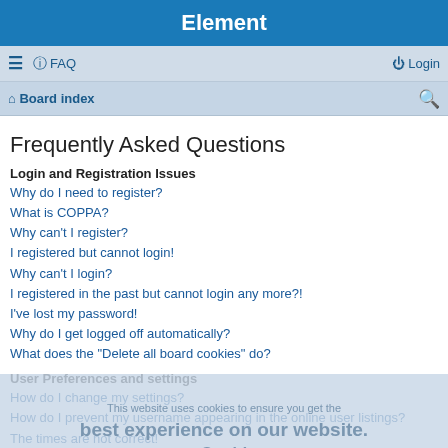Element
≡  FAQ    Login
Board index
Frequently Asked Questions
Login and Registration Issues
Why do I need to register?
What is COPPA?
Why can't I register?
I registered but cannot login!
Why can't I login?
I registered in the past but cannot login any more?!
I've lost my password!
Why do I get logged off automatically?
What does the "Delete all board cookies" do?
User Preferences and settings
How do I change my settings?
How do I prevent my username appearing in the online user listings?
The times are not correct!
I changed the timezone and the time is still wrong!
My language is not in the list!
What are the images next to my username?